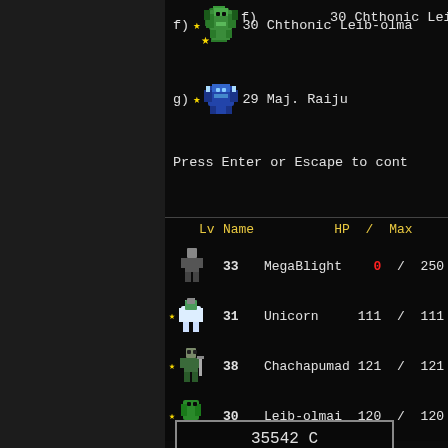f)  ★  30 Chthonic Leib-olma
g)  ★  29 Maj. Raiju
Press Enter or Escape to cont
| Lv | Name | HP | / | Max |
| --- | --- | --- | --- | --- |
| 33 | MegaBlight | 0 | / | 250+ |
| 31 | Unicorn | 111 | / | 111+ |
| 38 | Chachapumad | 121 | / | 121+ |
| 30 | Leib-olmai | 120 | / | 120+ |
35542 C